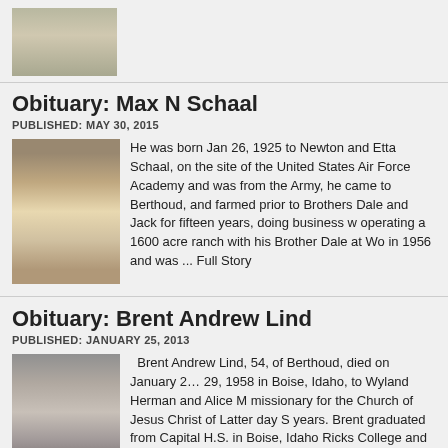[Figure (photo): Partial photo of a person visible at the top of the page, cropped]
Obituary: Max N Schaal
PUBLISHED: MAY 30, 2015
[Figure (photo): Photo of Max N Schaal, an elderly man wearing glasses and a dark vest]
He was born Jan 26, 1925 to Newton and Etta Schaal, on the site of the United States Air Force Academy and was from the Army, he came to Berthoud, and farmed prior to Brothers Dale and Jack for fifteen years, doing business w operating a 1600 acre ranch with his Brother Dale at Wo in 1956 and was ... Full Story
Obituary: Brent Andrew Lind
PUBLISHED: JANUARY 25, 2013
[Figure (photo): Photo of Brent Andrew Lind, a middle-aged man in a dark suit with a tie]
Brent Andrew Lind, 54, of Berthoud, died on January 2… 29, 1958 in Boise, Idaho, to Wyland Herman and Alice M missionary for the Church of Jesus Christ of Latter day S years. Brent graduated from Capital H.S. in Boise, Idaho Ricks College and his Bachelors and Masters Degree in C Young University ... Full Story